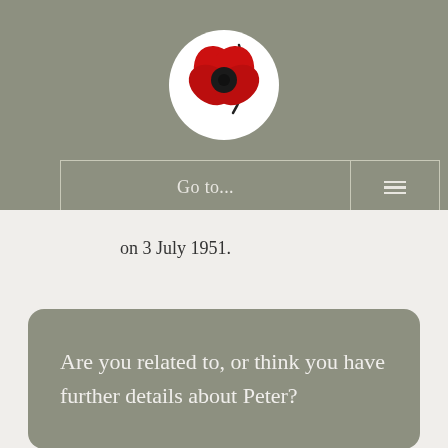[Figure (logo): Royal British Legion poppy logo — red poppy with black centre on a white circle, with a curved dark stem]
[Figure (screenshot): Navigation bar with 'Go to...' text and hamburger menu icon, styled with sage green background and light border]
on 3 July 1951.
Are you related to, or think you have further details about Peter?